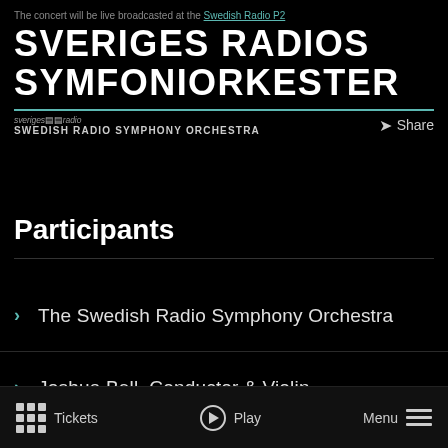The concert will be live broadcasted at the Swedish Radio P2
SVERIGES RADIOS SYMFONIORKESTER
SWEDISH RADIO SYMPHONY ORCHESTRA
Participants
The Swedish Radio Symphony Orchestra
Joshua Bell, Conductor & Violin
Julia Kretz-Larsson, concertmaster
Tickets   Play   Menu